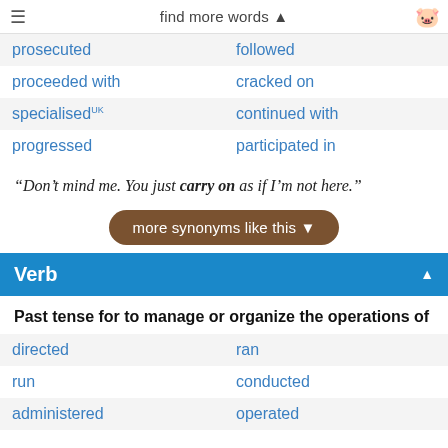find more words ▲
| prosecuted | followed |
| proceeded with | cracked on |
| specialisedUK | continued with |
| progressed | participated in |
“Don’t mind me. You just carry on as if I’m not here.”
more synonyms like this ▼
Verb
Past tense for to manage or organize the operations of
| directed | ran |
| run | conducted |
| administered | operated |